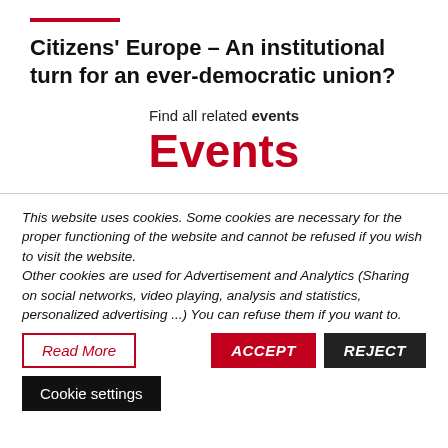Citizens' Europe – An institutional turn for an ever-democratic union?
Find all related events
Events
This website uses cookies. Some cookies are necessary for the proper functioning of the website and cannot be refused if you wish to visit the website.
Other cookies are used for Advertisement and Analytics (Sharing on social networks, video playing, analysis and statistics, personalized advertising ...) You can refuse them if you want to.
Read More
ACCEPT
REJECT
Cookie settings